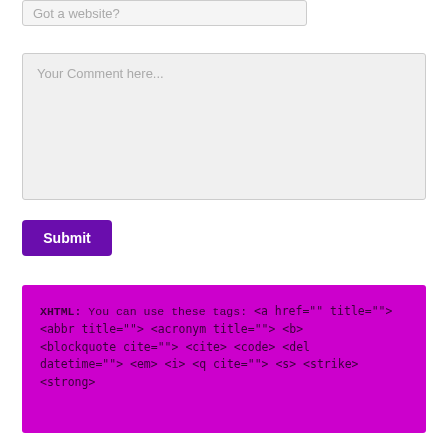Got a website?
Your Comment here...
Submit
XHTML: You can use these tags: <a href="" title=""> <abbr title=""> <acronym title=""> <b> <blockquote cite=""> <cite> <code> <del datetime=""> <em> <i> <q cite=""> <s> <strike> <strong>